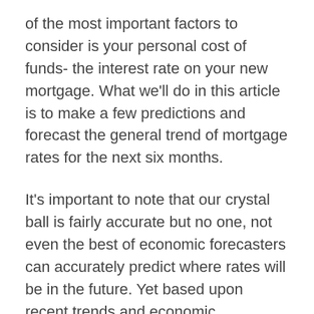of the most important factors to consider is your personal cost of funds- the interest rate on your new mortgage. What we'll do in this article is to make a few predictions and forecast the general trend of mortgage rates for the next six months.
It's important to note that our crystal ball is fairly accurate but no one, not even the best of economic forecasters can accurately predict where rates will be in the future. Yet based upon recent trends and economic expectations, we can feel confident about where rates will be in the near term and into summer 2019.